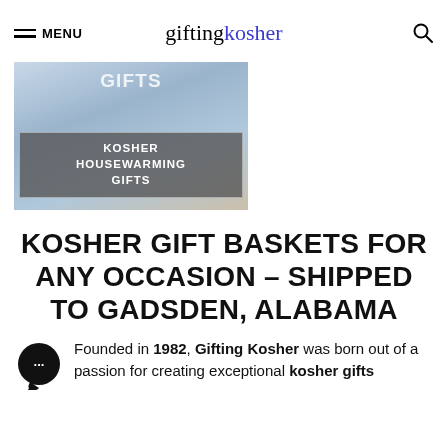MENU | giftingkosher
[Figure (photo): Banner image showing kosher housewarming gifts with overlay text 'KOSHER HOUSEWARMING GIFTS']
KOSHER GIFT BASKETS FOR ANY OCCASION – SHIPPED TO GADSDEN, ALABAMA
Founded in 1982, Gifting Kosher was born out of a passion for creating exceptional kosher gifts